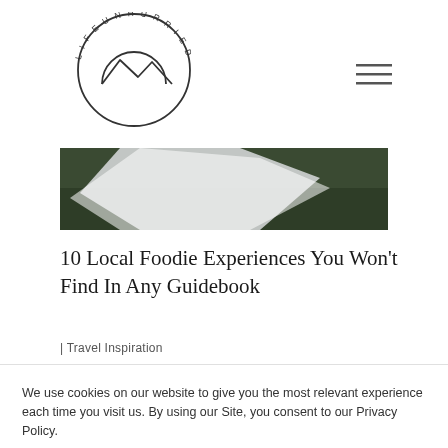[Figure (logo): Life Unhurried circular logo with mountain/arch line drawing and text around the circle]
[Figure (other): Hamburger menu icon (three horizontal lines)]
[Figure (photo): Hero image showing a white fabric or veil on green grass, cropped to partial view]
10 Local Foodie Experiences You Won't Find In Any Guidebook
| Travel Inspiration
We use cookies on our website to give you the most relevant experience each time you visit us. By using our Site, you consent to our Privacy Policy.
SETTINGS   ACCEPT   READ MORE